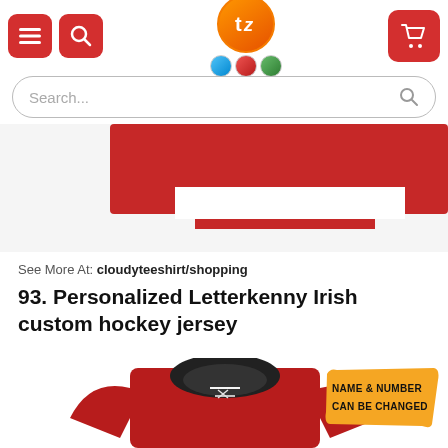[Figure (screenshot): Website header with red menu button, red search button, orange/circular logo with tezostees branding and quality badges, and red cart button on right]
[Figure (screenshot): Search bar with placeholder text 'Search...' and magnifier icon on right]
[Figure (photo): Partial view of a red and white hockey jersey collar/shoulder area]
See More At: cloudyteeshirt/shopping
93. Personalized Letterkenny Irish custom hockey jersey
[Figure (photo): Red custom hockey jersey with black collar and lace-up neck, partially visible. Yellow brush-stroke badge reads 'NAME & NUMBER CAN BE CHANGED']